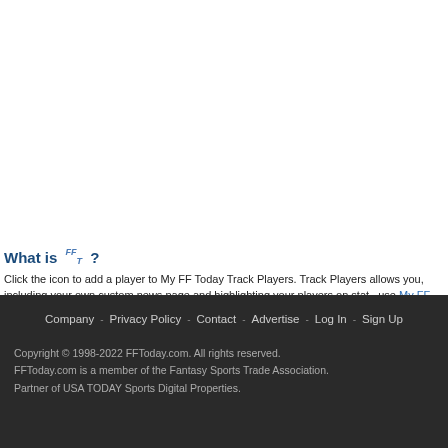What is FF ?
Click the icon to add a player to My FF Today Track Players. Track Players allows you, including your own custom news page and highlighting your players on stat,. use My FF Today.
Company - Privacy Policy - Contact - Advertise - Log In - Sign Up
Copyright © 1998-2022 FFToday.com. All rights reserved.
FFToday.com is a member of the Fantasy Sports Trade Association.
Partner of USA TODAY Sports Digital Properties.